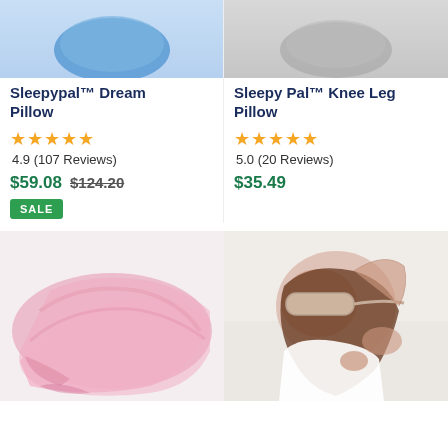[Figure (photo): Top portion of Sleepypal Dream Pillow product image, blue pillow visible]
Sleepypal™ Dream Pillow
★★★★★ 4.9 (107 Reviews)
$59.08  $124.20  SALE
[Figure (photo): Top portion of Sleepy Pal Knee Leg Pillow product image, grey pillow visible]
Sleepy Pal™ Knee Leg Pillow
★★★★★ 5.0 (20 Reviews)
$35.49
[Figure (photo): Pink silk satin pillowcase folded, product image on light background]
[Figure (photo): Woman lying down wearing a beige sleep eye mask, white background]